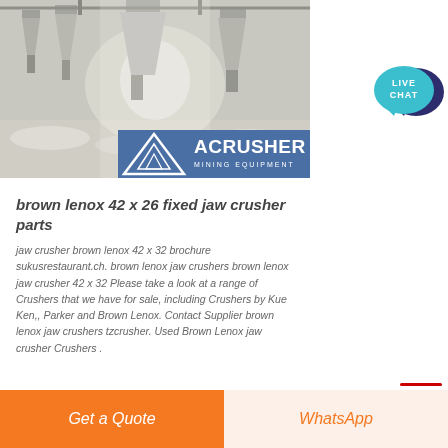[Figure (photo): Industrial facility interior with large dust collection hoppers and equipment, overlaid with ACRUSHER Mining Equipment logo at bottom right of image]
brown lenox 42 x 26 fixed jaw crusher parts
jaw crusher brown lenox 42 x 32 brochure sukusrestaurant.ch. brown lenox jaw crushers brown lenox jaw crusher 42 x 32 Please take a look at a range of Crushers that we have for sale, including Crushers by Kue Ken,, Parker and Brown Lenox. Contact Supplier brown lenox jaw crushers tzcrusher. Used Brown Lenox jaw crusher Crushers .